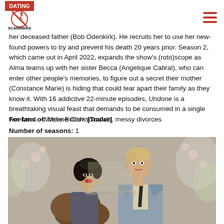Dating Scammers logo and navigation
her deceased father (Bob Odenkirk). He recruits her to use her new-found powers to try and prevent his death 20 years prior. Season 2, which came out in April 2022, expands the show's (roto)scope as Alma teams up with her sister Becca (Angelique Cabral), who can enter other people's memories, to figure out a secret their mother (Constance Marie) is hiding that could tear apart their family as they know it. With 16 addictive 22-minute episodes, Undone is a breathtaking visual feast that demands to be consumed in a single weekend. –Noelene Clark [Trailer]
For fans of: More British scandals, messy divorces
Number of seasons: 1
[Figure (photo): A man and woman in period costume, likely from a TV show. The woman has dark hair and red lips wearing a fur stole; the man is tall with light hair wearing a grey suit with a tie.]